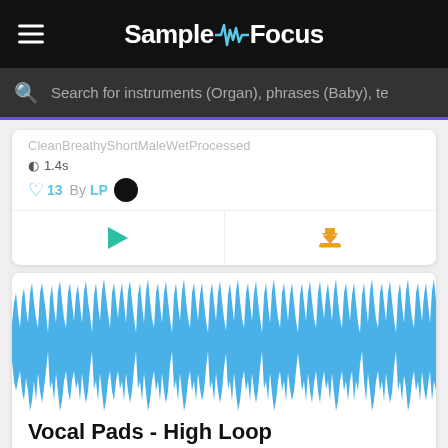SampleFocus
Search for instruments (Organ), phrases (Baby), te
Clean Breathy Short Male Wet Processed
1.4s
13 By LP
[Figure (other): Play button (green triangle) and download button (orange download icon) action row]
[Figure (continuous-plot): Audio waveform visualization for Vocal Pads - High Loop, blue waveform on white background showing dense audio signal]
Vocal Pads - High Loop
Female Playful Fun Cool Dynamic Trap Hip hop